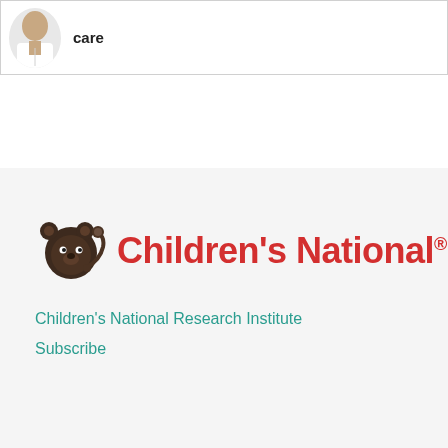care
[Figure (logo): Children's National hospital logo featuring a cartoon bear with a stethoscope and the text 'Children's National.']
Children's National Research Institute
Subscribe